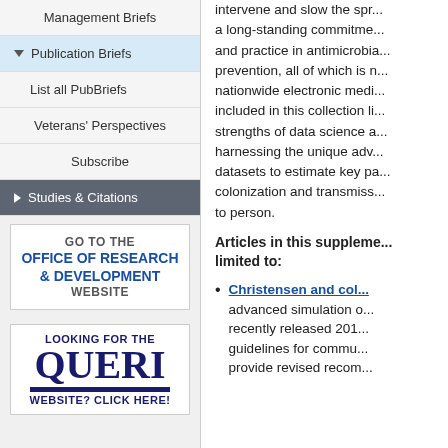Management Briefs
Publication Briefs
List all PubBriefs
Veterans' Perspectives
Subscribe
Studies & Citations
GO TO THE OFFICE OF RESEARCH & DEVELOPMENT WEBSITE
LOOKING FOR THE QUERI WEBSITE? CLICK HERE!
intervene and slow the sp... a long-standing commitme... and practice in antimicrobia... prevention, all of which is n... nationwide electronic medi... included in this collection li... strengths of data science a... harnessing the unique adv... datasets to estimate key pa... colonization and transmiss... to person.
Articles in this suppleme... limited to:
Christensen and col... advanced simulation o... recently released 201... guidelines for commu... provide revised recom...